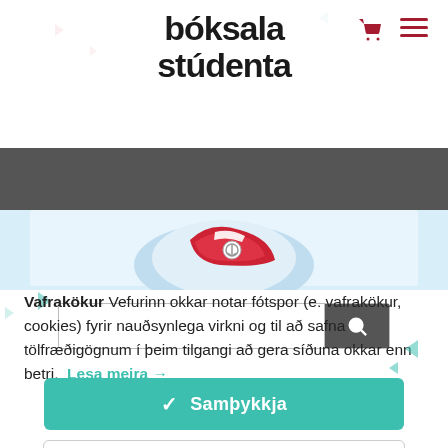[Figure (screenshot): Bóksala Stúdenta website header with logo, shopping cart icon, and hamburger menu icon]
[Figure (screenshot): Dark grey search bar with white search input box and search button]
[Figure (photo): Partial hero image showing what appears to be a heart/medical illustration in red and blue]
Vafrakökur Vefurinn okkar notar fótspor (e. vafrakökur, cookies) fyrir nauðsynlega virkni og til að safna tölfræðigögnum í þeim tilgangi að gera síðuna okkar enn betri. Lesa meira →
✓ Samþykkja
Change Settings ⚙